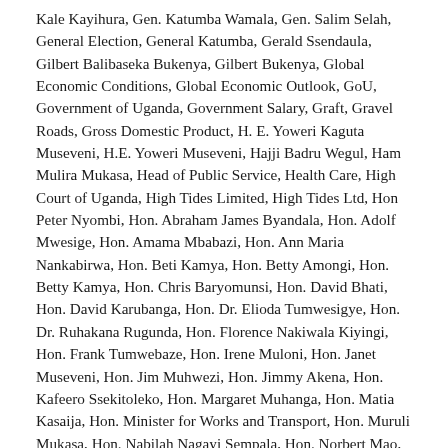Kale Kayihura, Gen. Katumba Wamala, Gen. Salim Selah, General Election, General Katumba, Gerald Ssendaula, Gilbert Balibaseka Bukenya, Gilbert Bukenya, Global Economic Conditions, Global Economic Outlook, GoU, Government of Uganda, Government Salary, Graft, Gravel Roads, Gross Domestic Product, H. E. Yoweri Kaguta Museveni, H.E. Yoweri Museveni, Hajji Badru Wegul, Ham Mulira Mukasa, Head of Public Service, Health Care, High Court of Uganda, High Tides Limited, High Tides Ltd, Hon Peter Nyombi, Hon. Abraham James Byandala, Hon. Adolf Mwesige, Hon. Amama Mbabazi, Hon. Ann Maria Nankabirwa, Hon. Beti Kamya, Hon. Betty Amongi, Hon. Betty Kamya, Hon. Chris Baryomunsi, Hon. David Bhati, Hon. David Karubanga, Hon. Dr. Elioda Tumwesigye, Hon. Dr. Ruhakana Rugunda, Hon. Florence Nakiwala Kiyingi, Hon. Frank Tumwebaze, Hon. Irene Muloni, Hon. Janet Museveni, Hon. Jim Muhwezi, Hon. Jimmy Akena, Hon. Kafeero Ssekitoleko, Hon. Margaret Muhanga, Hon. Matia Kasaija, Hon. Minister for Works and Transport, Hon. Muruli Mukasa, Hon. Nabilah Nagayi Sempala, Hon. Norbert Mao, Hon. Paul Amoru, Hon. Philemon